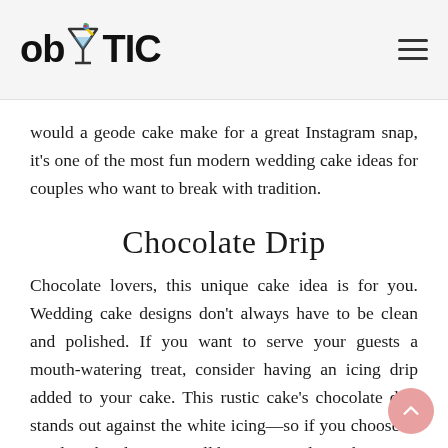obYTIC
would a geode cake make for a great Instagram snap, it's one of the most fun modern wedding cake ideas for couples who want to break with tradition.
Chocolate Drip
Chocolate lovers, this unique cake idea is for you. Wedding cake designs don't always have to be clean and polished. If you want to serve your guests a mouth-watering treat, consider having an icing drip added to your cake. This rustic cake's chocolate drip stands out against the white icing—so if you choose to emulate this design, you'll be counting down the